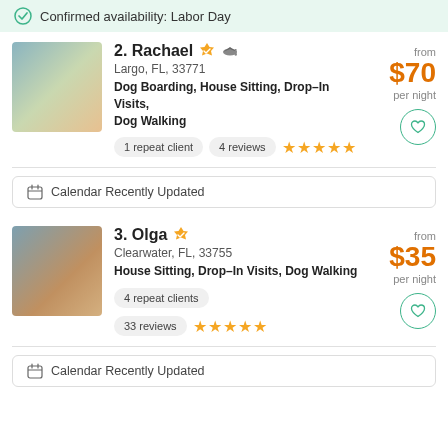Confirmed availability: Labor Day
2. Rachael
Largo, FL, 33771
Dog Boarding, House Sitting, Drop-In Visits, Dog Walking
from $70 per night
1 repeat client  4 reviews  ★★★★★
Calendar Recently Updated
3. Olga
Clearwater, FL, 33755
House Sitting, Drop-In Visits, Dog Walking
from $35 per night
4 repeat clients
33 reviews  ★★★★★
Calendar Recently Updated